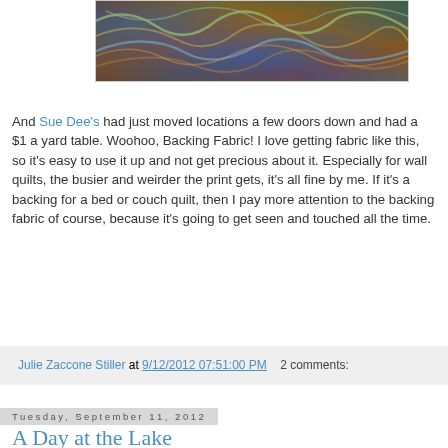[Figure (photo): Close-up photograph of multicolored marbled fabric with swirling patterns in green, brown, red, teal and gold tones]
And Sue Dee's had just moved locations a few doors down and had a $1 a yard table.  Woohoo, Backing Fabric!  I love getting fabric like this, so it's easy to use it up and not get precious about it.  Especially for wall quilts, the busier and weirder the print gets, it's all fine by me.  If it's a backing for a bed or couch quilt, then I pay more attention to the backing fabric of course, because it's going to get seen and touched all the time.
Julie Zaccone Stiller at 9/12/2012 07:51:00 PM    2 comments:
Tuesday, September 11, 2012
A Day at the Lake